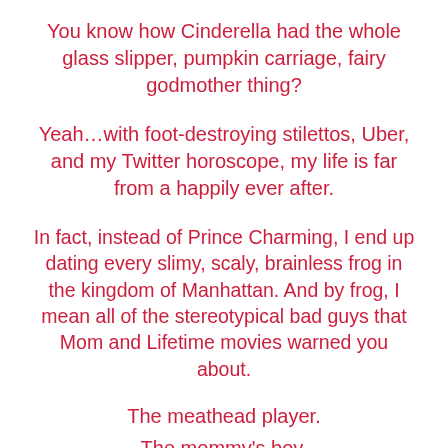You know how Cinderella had the whole glass slipper, pumpkin carriage, fairy godmother thing?
Yeah…with foot-destroying stilettos, Uber, and my Twitter horoscope, my life is far from a happily ever after.
In fact, instead of Prince Charming, I end up dating every slimy, scaly, brainless frog in the kingdom of Manhattan. And by frog, I mean all of the stereotypical bad guys that Mom and Lifetime movies warned you about.
The meathead player.
The mommy's boy.
The namedropper.
The cheapskate.